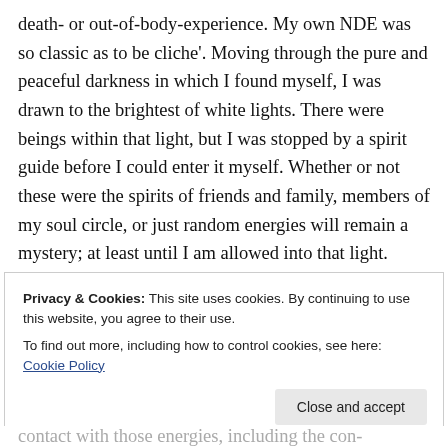death- or out-of-body-experience. My own NDE was so classic as to be cliche'. Moving through the pure and peaceful darkness in which I found myself, I was drawn to the brightest of white lights. There were beings within that light, but I was stopped by a spirit guide before I could enter it myself. Whether or not these were the spirits of friends and family, members of my soul circle, or just random energies will remain a mystery; at least until I am allowed into that light.
Privacy & Cookies: This site uses cookies. By continuing to use this website, you agree to their use.
To find out more, including how to control cookies, see here: Cookie Policy
contact with those energies, including the con-